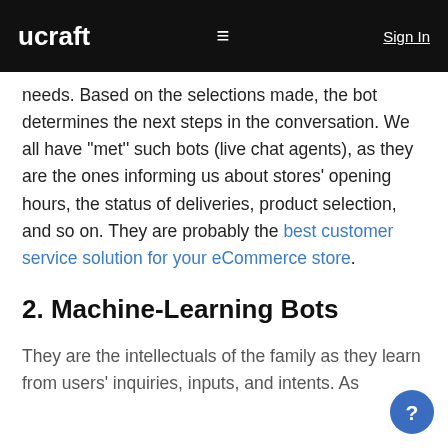ucraft | Sign In
needs. Based on the selections made, the bot determines the next steps in the conversation. We all have "met'' such bots (live chat agents), as they are the ones informing us about stores' opening hours, the status of deliveries, product selection, and so on. They are probably the best customer service solution for your eCommerce store.
2. Machine-Learning Bots
They are the intellectuals of the family as they learn from users' inquiries, inputs, and intents. As